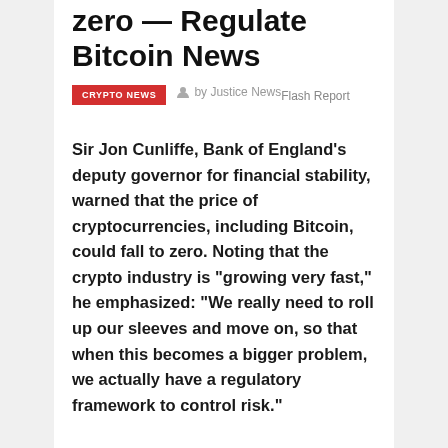zero — Regulate Bitcoin News
CRYPTO NEWS  by Justice News Flash Report
Sir Jon Cunliffe, Bank of England’s deputy governor for financial stability, warned that the price of cryptocurrencies, including Bitcoin, could fall to zero. Noting that the crypto industry is “growing very fast,” he emphasized: “We really need to roll up our sleeves and move on, so that when this becomes a bigger problem, we actually have a regulatory framework to control risk.”